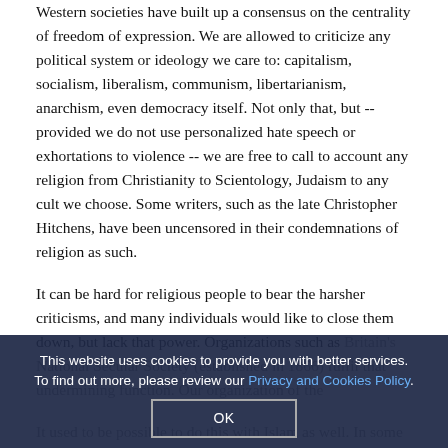Western societies have built up a consensus on the centrality of freedom of expression. We are allowed to criticize any political system or ideology we care to: capitalism, socialism, liberalism, communism, libertarianism, anarchism, even democracy itself. Not only that, but -- provided we do not use personalized hate speech or exhortations to violence -- we are free to call to account any religion from Christianity to Scientology, Judaism to any cult we choose. Some writers, such as the late Christopher Hitchens, have been uncensored in their condemnations of religion as such.
It can be hard for religious people to bear the harsher criticisms, and many individuals would like to close them down, but lack that power. Organizations such as Britain's National Secular Society (established in 1866) fulfil that undermining function. Our organization of the...
It used to be possible to do this with Islam as well. In some measure it still is. But many Muslim bodies -- notably the 57-member state Organization of the...
This website uses cookies to provide you with better services. To find out more, please review our Privacy and Cookies Policy.